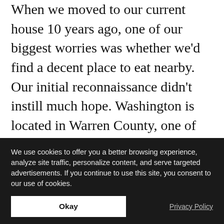When we moved to our current house 10 years ago, one of our biggest worries was whether we'd find a decent place to eat nearby. Our initial reconnaissance didn't instill much hope. Washington is located in Warren County, one of the more rural spots in the state. One diner was so full of cigarette smoke (remember, a decade ago) that we got the hell out of there before our lungs could sue us. Another had romantic lighting and starched tablecloths, but the food didn't pass the Panera Test. (Panera is my benchmark—if it's not better, we might as well just eat at Panera.) Why didn't we eat at Panera first? …
We use cookies to offer you a better browsing experience, analyze site traffic, personalize content, and serve targeted advertisements. If you continue to use this site, you consent to our use of cookies.
Okay
Privacy Policy